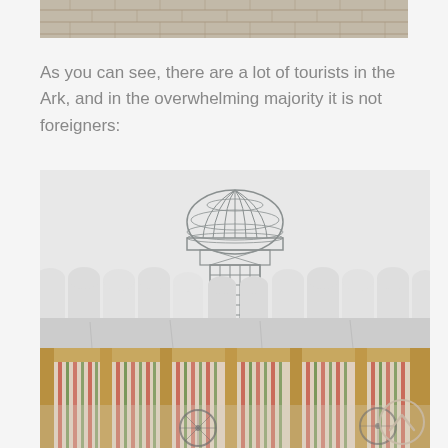[Figure (photo): Top portion of a photo showing a paved stone courtyard or path, cropped at top of page]
As you can see, there are a lot of tourists in the Ark, and in the overwhelming majority it is not foreigners:
[Figure (photo): Photo of an architectural scene showing white arched battlements of a fortress wall with a metal lattice dome structure (observation tower) rising above in the background, and a wooden frame structure with colorful striped fabric curtains in the foreground. A scroll-up button icon is visible at lower right.]